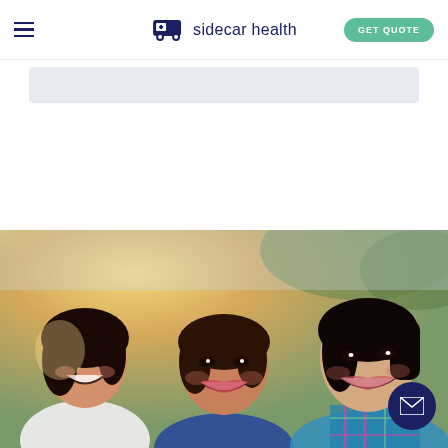sidecar health — navigation bar with hamburger menu and GET QUOTE button
[Figure (screenshot): Light blue/grey rounded rectangle banner bar below navigation]
[Figure (photo): Three smiling Asian women (young adult, middle-aged, young adult) posing together outdoors with sunlit trees in background]